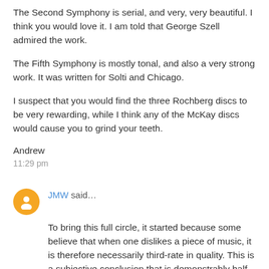The Second Symphony is serial, and very, very beautiful. I think you would love it. I am told that George Szell admired the work.
The Fifth Symphony is mostly tonal, and also a very strong work. It was written for Solti and Chicago.
I suspect that you would find the three Rochberg discs to be very rewarding, while I think any of the McKay discs would cause you to grind your teeth.
Andrew
11:29 pm
JMW said...
To bring this full circle, it started because some believe that when one dislikes a piece of music, it is therefore necessarily third-rate in quality. This is a subjective conclusion that is demonstrably half-baked as such opinions are usually predicated upon nothing more than